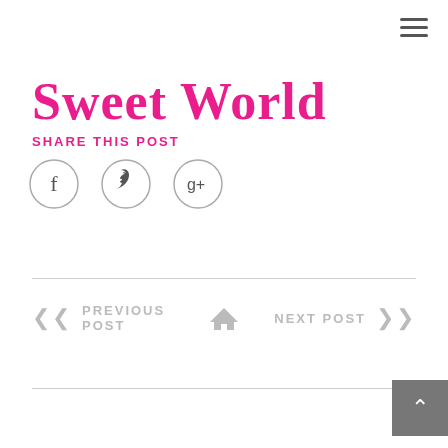Sweet World
SHARE THIS POST
[Figure (infographic): Three circular social media share icons: Facebook (f), Twitter (bird), Google+ (g+)]
PREVIOUS POST | home | NEXT POST